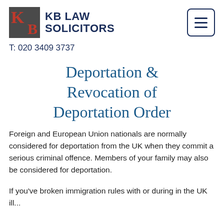[Figure (logo): KB Law Solicitors logo with dark grey square containing red K and B letters, followed by bold dark blue text KB LAW SOLICITORS, and a menu button icon top right]
T: 020 3409 3737
Deportation & Revocation of Deportation Order
Foreign and European Union nationals are normally considered for deportation from the UK when they commit a serious criminal offence. Members of your family may also be considered for deportation.
If you've broken immigration rules with or during in the UK ill...